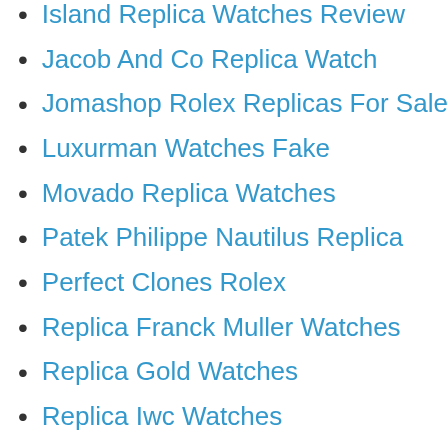Island Replica Watches Review
Jacob And Co Replica Watch
Jomashop Rolex Replicas For Sale
Luxurman Watches Fake
Movado Replica Watches
Patek Philippe Nautilus Replica
Perfect Clones Rolex
Replica Franck Muller Watches
Replica Gold Watches
Replica Iwc Watches
Replica Panerai Watch
Replica Richard Mille Watch
Replica U Boat
Replica Watch From China
Replica Watch Info Richard Mille
Replica Watch Wholesale
Replica Watches Planet